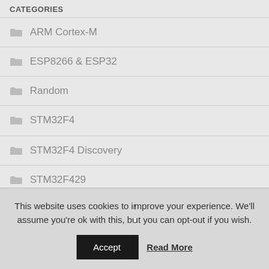CATEGORIES
ARM Cortex-M
ESP8266 & ESP32
Random
STM32F4
STM32F4 Discovery
STM32F429
STM32F429 Discovery
This website uses cookies to improve your experience. We'll assume you're ok with this, but you can opt-out if you wish.
Accept  Read More